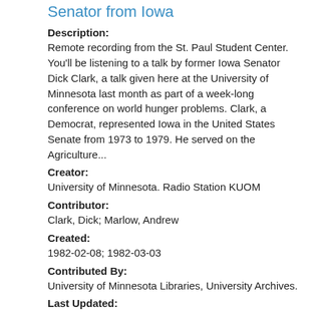Senator from Iowa
Description:
Remote recording from the St. Paul Student Center. You'll be listening to a talk by former Iowa Senator Dick Clark, a talk given here at the University of Minnesota last month as part of a week-long conference on world hunger problems. Clark, a Democrat, represented Iowa in the United States Senate from 1973 to 1979. He served on the Agriculture...
Creator:
University of Minnesota. Radio Station KUOM
Contributor:
Clark, Dick; Marlow, Andrew
Created:
1982-02-08; 1982-03-03
Contributed By:
University of Minnesota Libraries, University Archives.
Last Updated:
2020-06-03